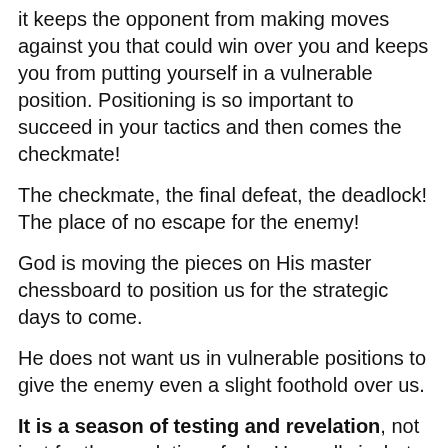it keeps the opponent from making moves against you that could win over you and keeps you from putting yourself in a vulnerable position. Positioning is so important to succeed in your tactics and then comes the checkmate!
The checkmate, the final defeat, the deadlock! The place of no escape for the enemy!
God is moving the pieces on His master chessboard to position us for the strategic days to come.
He does not want us in vulnerable positions to give the enemy even a slight foothold over us.
It is a season of testing and revelation, not just for the revelation of who He really is, but for His people to walk in it.
To take hold of the authority commissioned to you, grab hold of the baton handed to you and run with it.
Stay in faith, Kingdom Builders, stay on that wall and